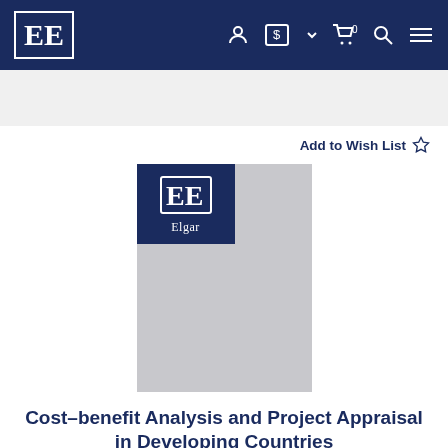[Figure (logo): Edward Elgar Publishing navbar logo - EE in white on dark navy background]
Add to Wish List ☆
[Figure (illustration): Book cover placeholder with Edward Elgar 'EE / Elgar' logo on dark navy background, rest of cover is light gray]
Cost–benefit Analysis and Project Appraisal in Developing Countries